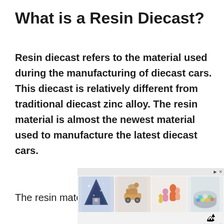What is a Resin Diecast?
Resin diecast refers to the material used during the manufacturing of diecast cars. This diecast is relatively different from traditional diecast zinc alloy. The resin material is almost the newest material used to manufacture the latest diecast cars.
The resin material is almost the
[Figure (infographic): Advertisement overlay at the bottom of the page showing toy product images (children's tent, wooden toy car, stacking dolls, ball pit) with Tiny Land branding and close/skip buttons.]